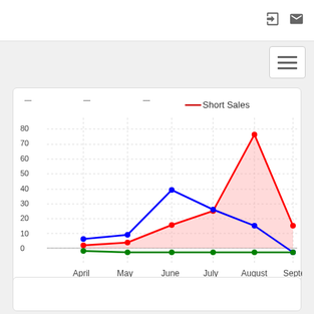[Figure (line-chart): Short Sales]